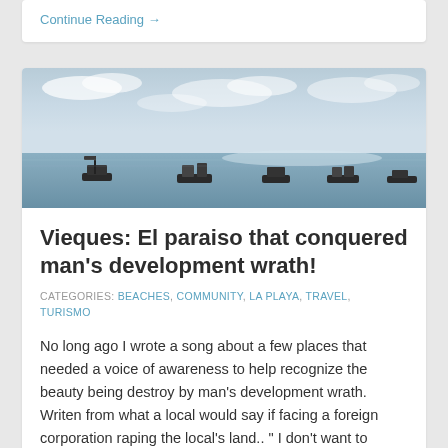Continue Reading →
[Figure (photo): Coastal seascape photo showing calm blue water with several boats moored along the horizon, under a partly cloudy sky with blue tones.]
Vieques: El paraiso that conquered man's development wrath!
CATEGORIES: BEACHES, COMMUNITY, LA PLAYA, TRAVEL, TURISMO
No long ago I wrote a song about a few places that needed a voice of awareness to help recognize the beauty being destroy by man's development wrath. Writen from what a local would say if facing a foreign corporation raping the local's land.. " I don't want to